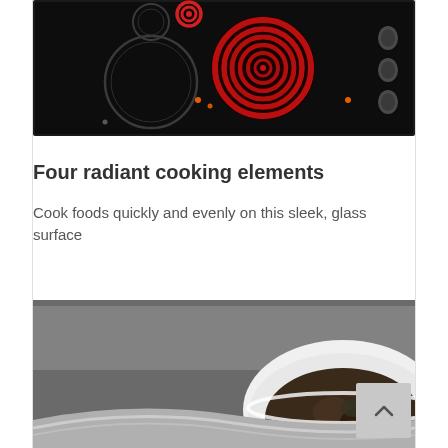[Figure (photo): Black glass ceramic cooktop with four radiant heating elements - two red coil elements on the right side glowing red, two circular elements on the left, and control knobs on the right edge. The cooktop has a sleek black glass surface.]
Four radiant cooking elements
Cook foods quickly and evenly on this sleek, glass surface
[Figure (photo): Close-up of a white ceramic or porcelain bowl containing dark food (possibly stewed mushrooms or braised meat) on a glass cooktop surface, with a metallic/chrome pan visible in the foreground.]